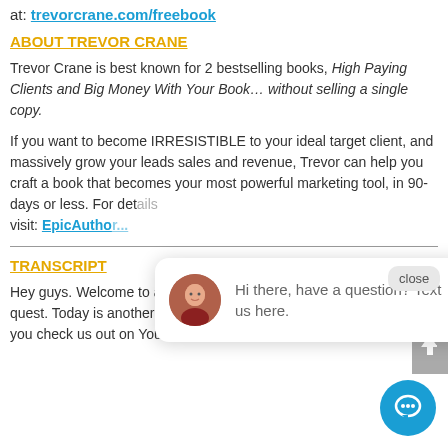at: trevorcrane.com/freebook
ABOUT TREVOR CRANE
Trevor Crane is best known for 2 bestselling books, High Paying Clients and Big Money With Your Book… without selling a single copy.
If you want to become IRRESISTIBLE to your ideal target client, and massively grow your leads sales and revenue, Trevor can help you craft a book that becomes your most powerful marketing tool, in 90-days or less. For details visit: EpicAutho...
TRANSCRIPT
Hey guys. Welcome to another daily dose of greatnes... quest. Today is another  video episode and make sur... you check us out on YouTube and trevorcrane.com to